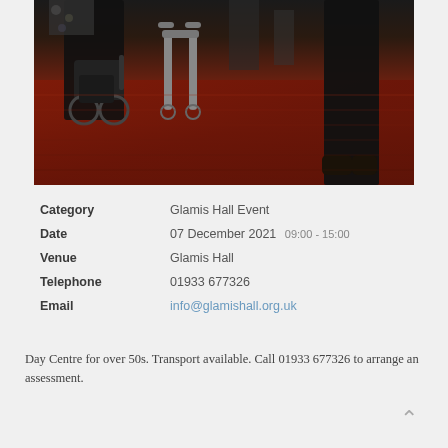[Figure (photo): Photo of people with mobility aids including a wheelchair and rollator walker in a hall with a red patterned carpet. A person in dark clothing is visible standing to the right.]
| Category | Glamis Hall Event |
| Date | 07 December 2021 09:00 - 15:00 |
| Venue | Glamis Hall |
| Telephone | 01933 677326 |
| Email | info@glamishall.org.uk |
Day Centre for over 50s. Transport available. Call 01933 677326 to arrange an assessment.